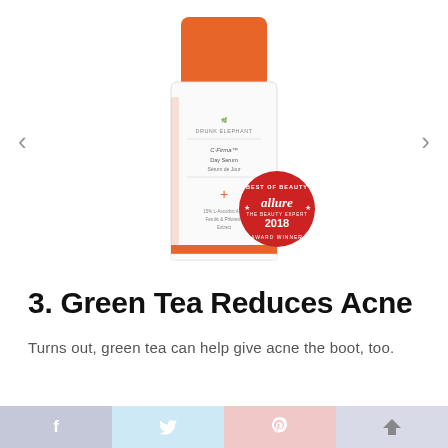[Figure (photo): White skincare serum bottle with orange cap labeled C-Firma Day Serum, with an Allure Best of Beauty 2018 Award Winner badge in red on the lower right]
3. Green Tea Reduces Acne
Turns out, green tea can help give acne the boot, too.
f  twitter  P  ↑